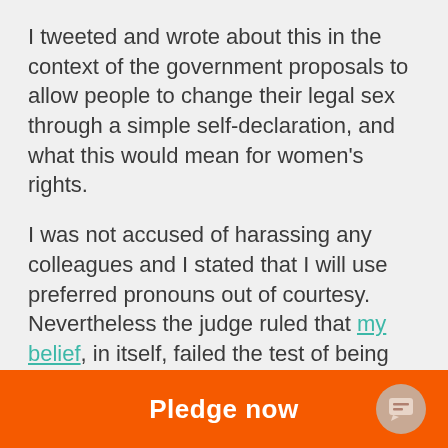I tweeted and wrote about this in the context of the government proposals to allow people to change their legal sex through a simple self-declaration, and what this would mean for women's rights.
I was not accused of harassing any colleagues and I stated that I will use preferred pronouns out of courtesy. Nevertheless the judge ruled that my belief, in itself, failed the test of being "worthy of respect in a democratic society, compatible with human dignity and not in conflict with the fundamental rights of others" (This is part of the "Grainger Criteria" for being a protected belief).
I am taking an appeal against this judgment to the
Pledge now